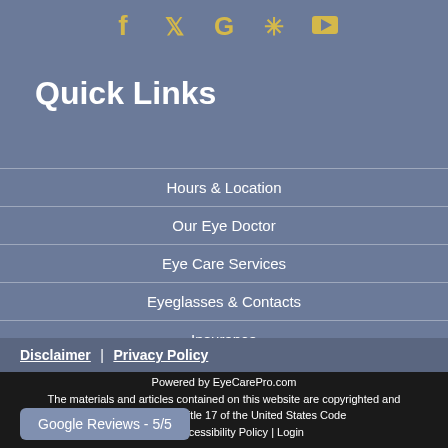[Figure (illustration): Social media icons row: Facebook, Twitter, Google, Yelp, YouTube — gold/yellow colored on blue-gray background]
Quick Links
Hours & Location
Our Eye Doctor
Eye Care Services
Eyeglasses & Contacts
Insurance
Disclaimer | Privacy Policy
Powered by EyeCarePro.com
The materials and articles contained on this website are copyrighted and protected under Title 17 of the United States Code
Website Accessibility Policy | Login
Google Reviews - 5/5